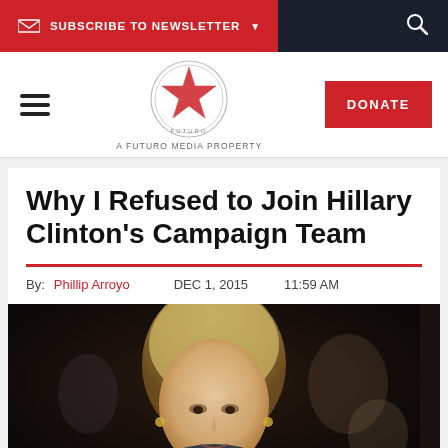SUBSCRIBE TO NEWSLETTER
[Figure (logo): Latino USA / Futuro Media circular logo with star]
Why I Refused to Join Hillary Clinton's Campaign Team
By: Phillip Arroyo   DEC 1, 2015   11:59 AM
[Figure (photo): Photo of Hillary Clinton looking downward, with blurred figures in background]